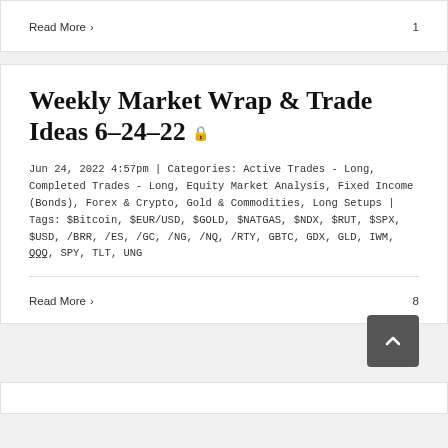Read More >
1
Weekly Market Wrap & Trade Ideas 6-24-22
Jun 24, 2022 4:57pm | Categories: Active Trades - Long, Completed Trades - Long, Equity Market Analysis, Fixed Income (Bonds), Forex & Crypto, Gold & Commodities, Long Setups | Tags: $Bitcoin, $EUR/USD, $GOLD, $NATGAS, $NDX, $RUT, $SPX, $USD, /BRR, /ES, /GC, /NG, /NQ, /RTY, GBTC, GDX, GLD, IWM, QQQ, SPY, TLT, UNG
Read More >
8